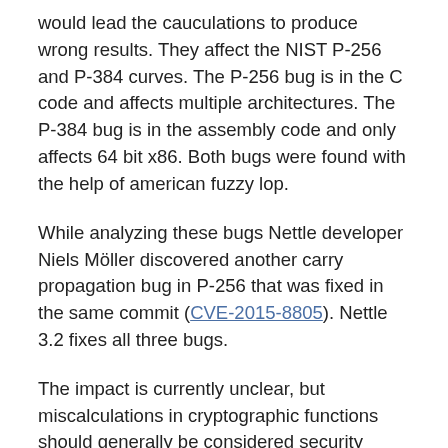would lead the cauculations to produce wrong results. They affect the NIST P-256 and P-384 curves. The P-256 bug is in the C code and affects multiple architectures. The P-384 bug is in the assembly code and only affects 64 bit x86. Both bugs were found with the help of american fuzzy lop.
While analyzing these bugs Nettle developer Niels Möller discovered another carry propagation bug in P-256 that was fixed in the same commit (CVE-2015-8805). Nettle 3.2 fixes all three bugs.
The impact is currently unclear, but miscalculations in cryptographic functions should generally be considered security issues. I'd like to encourage cryptographers to try to analyze whether these bugs can lead to cryptographic breaks.
I have published a code example on how to fuzz elliptic